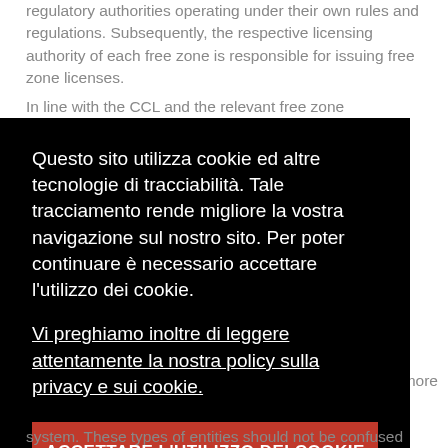regulatory authorities operating under their own rules and regulations. Subsequently, the respective licensing authority of each free zone is responsible for issuing free zone licenses.
In line with the CCL and the relevant free zone regulations, the free zones offer three main types of
[Figure (screenshot): Cookie consent overlay in Italian on black background with red accept button reading 'ACCETTARE L'UTILIZZO DEI COOKIE'. Text: 'Questo sito utilizza cookie ed altre tecnologie di tracciabilità. Tale tracciamento rende migliore la vostra navigazione sul nostro sito. Per poter continuare è necessario accettare l'utilizzo dei cookie. Vi preghiamo inoltre di leggere attentamente la nostra policy sulla privacy e sui cookie.']
system. These types of entities should not be confused